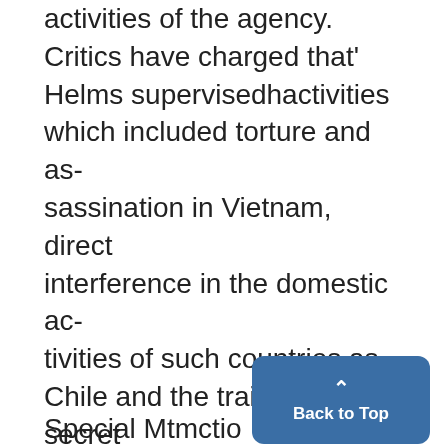activities of the agency. Critics have charged that' Helms supervisedhactivities which included torture and assassination in Vietnam, direct interference in the domestic activities of such countries as Chile and the training of secret police for other nations, including Iran. A major criticism against Helms concerned allegations
Special Mtmctio